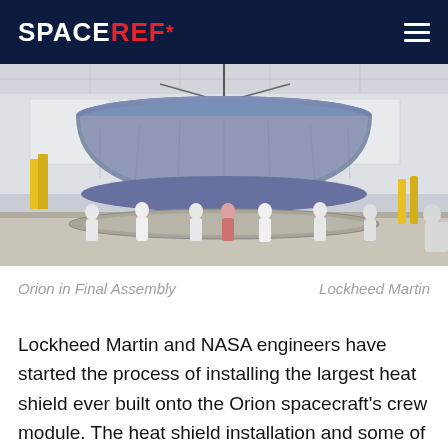SPACEREF*
[Figure (photo): Cleanroom facility showing the Orion spacecraft heat shield suspended overhead, with engineers in white cleanroom suits standing below examining the large circular heat shield structure. Several people are gathered in a bright white industrial facility.]
Orion in Final Assembly    Lockheed Martin
Lockheed Martin and NASA engineers have started the process of installing the largest heat shield ever built onto the Orion spacecraft's crew module. The heat shield installation and some of the